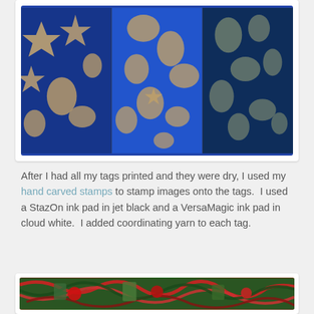[Figure (photo): Three side-by-side photos of blue hand-carved stamp prints on tags, showing star, irregular polygon, and other shapes stamped in blue ink on a tan/kraft colored background.]
After I had all my tags printed and they were dry, I used my hand carved stamps to stamp images onto the tags.  I used a StazOn ink pad in jet black and a VersaMagic ink pad in cloud white.  I added coordinating yarn to each tag.
[Figure (photo): Close-up photo of gift tags with red and green/black yarn tied around them, showing decorative wrapping with coordinating yarn.]